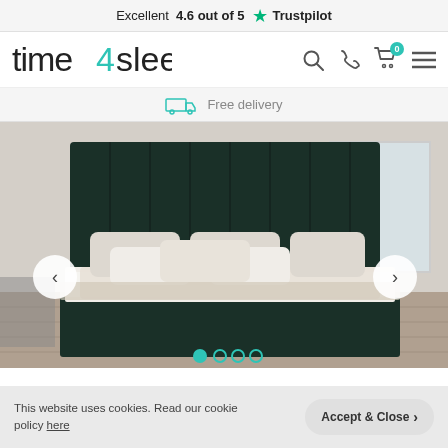Excellent 4.6 out of 5 ★ Trustpilot
[Figure (logo): time4sleep logo with teal '4' character]
Free delivery
[Figure (photo): Dark green velvet upholstered bed with tall channel-tufted headboard, cream/white bedding, in a bright bedroom setting]
This website uses cookies. Read our cookie policy here
Accept & Close >